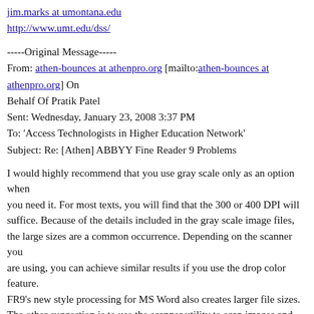jim.marks at umontana.edu
http://www.umt.edu/dss/
-----Original Message-----
From: athen-bounces at athenpro.org [mailto:athen-bounces at athenpro.org] On
Behalf Of Pratik Patel
Sent: Wednesday, January 23, 2008 3:37 PM
To: 'Access Technologists in Higher Education Network'
Subject: Re: [Athen] ABBYY Fine Reader 9 Problems
I would highly recommend that you use gray scale only as an option when
you need it. For most texts, you will find that the 300 or 400 DPI will
suffice. Because of the details included in the gray scale image files,
the large sizes are a common occurrence. Depending on the scanner you
are using, you can achieve similar results if you use the drop color feature.
FR9's new style processing for MS Word also creates larger file sizes.
The other suggestion is to use the scanner utility to scan images and